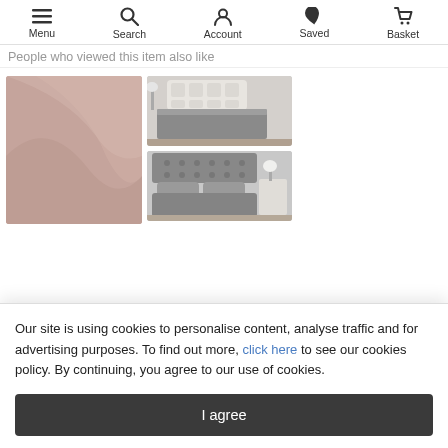Menu | Search | Account | Saved | Basket
People who viewed this item also like
[Figure (photo): Three product images: close-up of pink/rose bedding fabric, grey fitted sheet on a bed, grey duvet set on a styled bed]
Our site is using cookies to personalise content, analyse traffic and for advertising purposes. To find out more, click here to see our cookies policy. By continuing, you agree to our use of cookies.
I agree